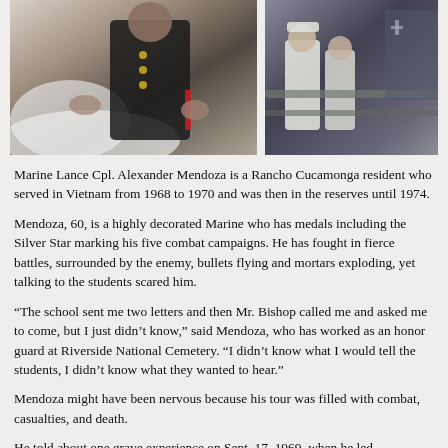[Figure (photo): Two photos side by side: left photo shows a Marine in dress uniform embracing someone in a white wedding dress; right photo shows Marines in white uniforms near a vehicle or structure.]
Marine Lance Cpl. Alexander Mendoza is a Rancho Cucamonga resident who served in Vietnam from 1968 to 1970 and was then in the reserves until 1974.
Mendoza, 60, is a highly decorated Marine who has medals including the Silver Star marking his five combat campaigns. He has fought in fierce battles, surrounded by the enemy, bullets flying and mortars exploding, yet talking to the students scared him.
“The school sent me two letters and then Mr. Bishop called me and asked me to come, but I just didn’t know,” said Mendoza, who has worked as an honor guard at Riverside National Cemetery. “I didn’t know what I would tell the students, I didn’t know what they wanted to hear.”
Mendoza might have been nervous because his tour was filled with combat, casualties, and death.
He told about one grave experience on Sept. 17, 1969, when he led